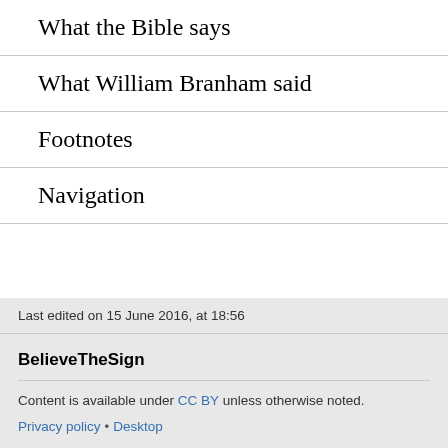What the Bible says
What William Branham said
Footnotes
Navigation
Last edited on 15 June 2016, at 18:56
BelieveTheSign
Content is available under CC BY unless otherwise noted.
Privacy policy • Desktop